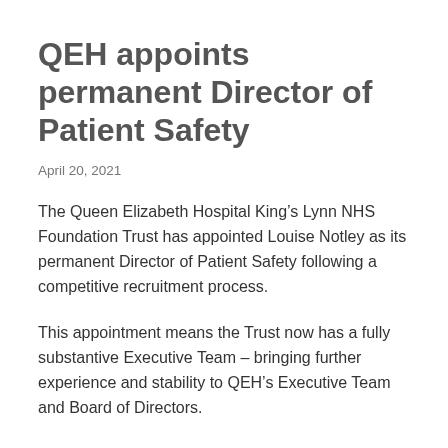QEH appoints permanent Director of Patient Safety
April 20, 2021
The Queen Elizabeth Hospital King’s Lynn NHS Foundation Trust has appointed Louise Notley as its permanent Director of Patient Safety following a competitive recruitment process.
This appointment means the Trust now has a fully substantive Executive Team – bringing further experience and stability to QEH’s Executive Team and Board of Directors.